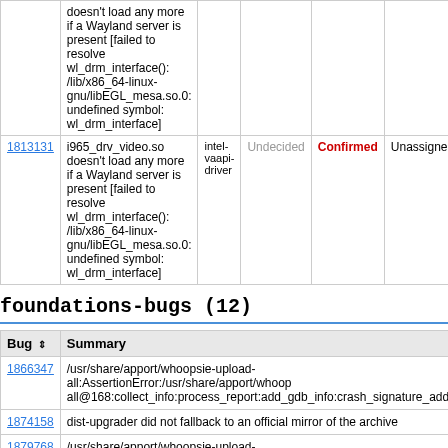| Bug | Summary | Package | Importance | Status | Assignee |
| --- | --- | --- | --- | --- | --- |
|  | doesn't load any more if a Wayland server is present [failed to resolve wl_drm_interface(): /lib/x86_64-linux-gnu/libEGL_mesa.so.0: undefined symbol: wl_drm_interface] |  |  |  |  |
| 1813131 | i965_drv_video.so doesn't load any more if a Wayland server is present [failed to resolve wl_drm_interface(): /lib/x86_64-linux-gnu/libEGL_mesa.so.0: undefined symbol: wl_drm_interface] | intel-vaapi-driver | Undecided | Confirmed | Unassigned |
foundations-bugs  (12)
| Bug | Summary |
| --- | --- |
| 1866347 | /usr/share/apport/whoopsie-upload-all:AssertionError:/usr/share/apport/whoopsie-upload-all@168:collect_info:process_report:add_gdb_info:crash_signature_addresses |
| 1874158 | dist-upgrader did not fallback to an official mirror of the archive |
| 1879768 | /usr/share/apport/whoopsie-upload-all:AssertionError:/usr/share/apport/whoopsie-upload-all@162:collect_info:process_report:add_gdb_info:crash_signature_addresses |
| 1586894 | Xenial upgrade installs i386 kernel despite amd64 userland |